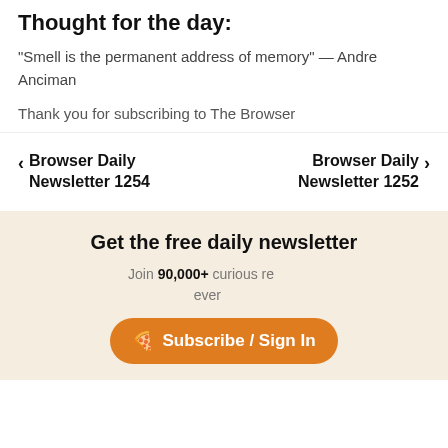Thought for the day:
"Smell is the permanent address of memory" — Andre Anciman
Thank you for subscribing to The Browser
< Browser Daily Newsletter 1254
Browser Daily Newsletter 1252 >
Get the free daily newsletter
Join 90,000+ curious readers every...
Subscribe / Sign In